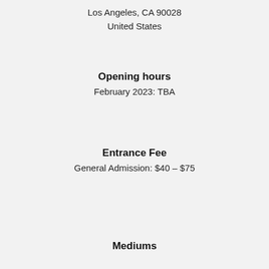Los Angeles, CA 90028
United States
Opening hours
February 2023: TBA
Entrance Fee
General Admission: $40 – $75
Mediums